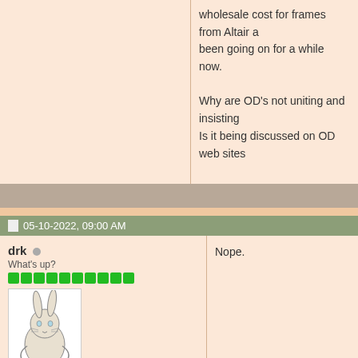wholesale cost for frames from Altair and been going on for a while now.

Why are OD's not uniting and insisting Is it being discussed on OD web sites
Nope.
drk
What's up?
Join Date: Mar 2004
Location: Ohio
Occupation: Optometrist
Posts: 8,656
05-10-2022, 09:00 AM
05-10-2022, 09:34 AM
Sledzinator
Last I saw they are only forcing practi